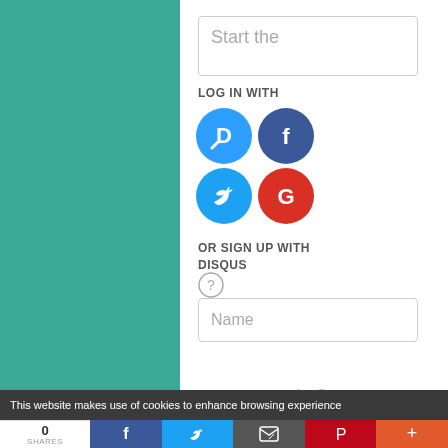[Figure (screenshot): Disqus comment login UI with text input 'Start the', social login icons (Disqus, Facebook, Twitter, Google), 'OR SIGN UP WITH DISQUS' section with question mark icon and Name input field, and 'Be the first to' text]
This website makes use of cookies to enhance browsing experience
0
SHARES